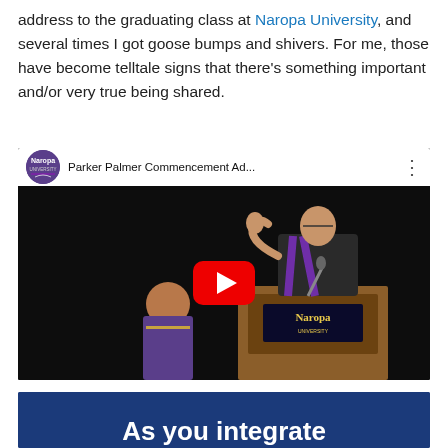address to the graduating class at Naropa University, and several times I got goose bumps and shivers. For me, those have become telltale signs that there's something important and/or very true being shared.
[Figure (screenshot): YouTube video thumbnail showing Parker Palmer giving a commencement address at a Naropa University podium, wearing a purple sash. The video title reads 'Parker Palmer Commencement Ad...' with the Naropa University logo circle. A red YouTube play button is overlaid in the center.]
[Figure (screenshot): Partial view of a blue banner/slide with white bold text beginning 'As you integrate']